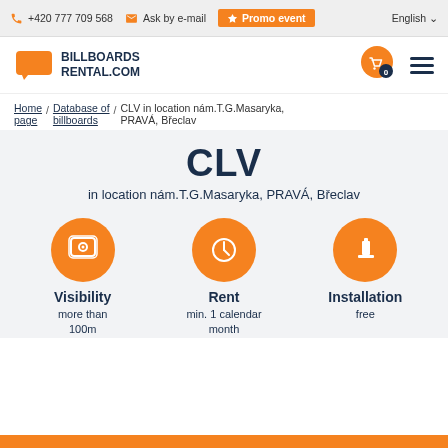+420 777 709 568 | Ask by e-mail | Promo event | English
[Figure (logo): BillboardsRental.com logo with orange speech bubble icon]
Home page / Database of billboards / CLV in location nám.T.G.Masaryka, PRAVÁ, Břeclav
CLV
in location nám.T.G.Masaryka, PRAVÁ, Břeclav
[Figure (infographic): Three orange circles with icons: eye (Visibility), clock (Rent), paint roller (Installation)]
Visibility - more than 100m | Rent - min. 1 calendar month | Installation - free